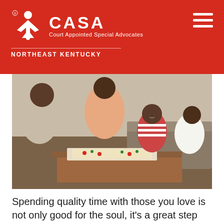[Figure (logo): CASA Court Appointed Special Advocates logo with person icon, white on red background, Northeast Kentucky chapter]
[Figure (photo): Family of four people playing a board game on a coffee table in a living room. Adults and children engaged together in the activity.]
Spending quality time with those you love is not only good for the soul, it’s a great step toward living an altruistic life. Altruism is all about doing the most you can for the world and how the world is better when...